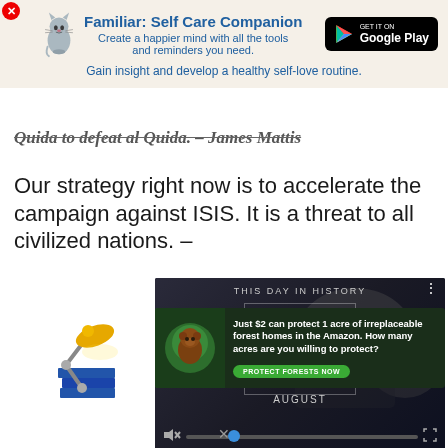[Figure (screenshot): App advertisement banner for 'Familiar: Self Care Companion' with cat illustration, Google Play button, and tagline about healthy self-love routine]
Quida to defeat al Quida. – James Mattis
Our strategy right now is to accelerate the campaign against ISIS. It is a threat to all civilized nations. –
[Figure (screenshot): Video player overlay with 'This Day in History' header, play button, 'AUGUST' month label, mute icon, progress bar, and fullscreen icon]
[Figure (illustration): Animated desk lamp illustration with yellow lampshade and stacked books]
[Figure (screenshot): Forest conservation ad: 'Just $2 can protect 1 acre of irreplaceable forest homes in the Amazon. How many acres are you willing to protect?' with green Protect Forests Now button]